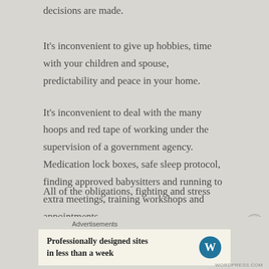decisions are made.
It's inconvenient to give up hobbies, time with your children and spouse, predictability and peace in your home.
It's inconvenient to deal with the many hoops and red tape of working under the supervision of a government agency.  Medication lock boxes, safe sleep protocol, finding approved babysitters and running to extra meetings, training workshops and appointments.
All of the obligations, fighting and stress affect…
Advertisements
Professionally designed sites in less than a week